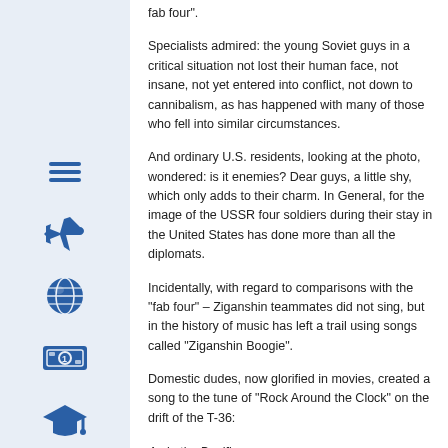fab four".
Specialists admired: the young Soviet guys in a critical situation not lost their human face, not insane, not yet entered into conflict, not down to cannibalism, as has happened with many of those who fell into similar circumstances.
And ordinary U.S. residents, looking at the photo, wondered: is it enemies? Dear guys, a little shy, which only adds to their charm. In General, for the image of the USSR four soldiers during their stay in the United States has done more than all the diplomats.
Incidentally, with regard to comparisons with the "fab four" – Ziganshin teammates did not sing, but in the history of music has left a trail using songs called "Ziganshin Boogie".
Domestic dudes, now glorified in movies, created a song to the tune of "Rock Around the Clock" on the drift of the T-36:
As in the Pacific
Sinks barge with dudes.